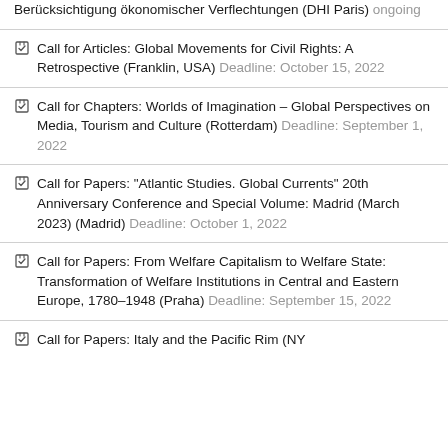Berücksichtigung ökonomischer Verflechtungen (DHI Paris) ongoing
Call for Articles: Global Movements for Civil Rights: A Retrospective (Franklin, USA) Deadline: October 15, 2022
Call for Chapters: Worlds of Imagination – Global Perspectives on Media, Tourism and Culture (Rotterdam) Deadline: September 1, 2022
Call for Papers: "Atlantic Studies. Global Currents" 20th Anniversary Conference and Special Volume: Madrid (March 2023) (Madrid) Deadline: October 1, 2022
Call for Papers: From Welfare Capitalism to Welfare State: Transformation of Welfare Institutions in Central and Eastern Europe, 1780–1948 (Praha) Deadline: September 15, 2022
Call for Papers: Italy and the Pacific Rim (NY…